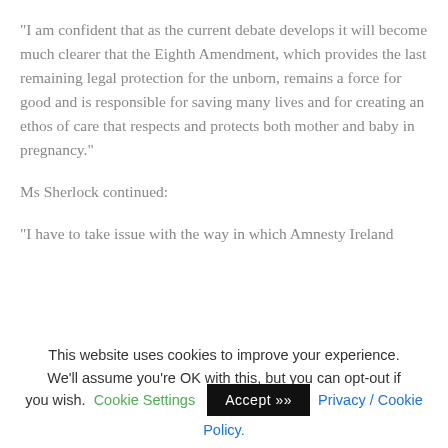“I am confident that as the current debate develops it will become much clearer that the Eighth Amendment, which provides the last remaining legal protection for the unborn, remains a force for good and is responsible for saving many lives and for creating an ethos of care that respects and protects both mother and baby in pregnancy.”
Ms Sherlock continued:
“I have to take issue with the way in which Amnesty Ireland
This website uses cookies to improve your experience. We’ll assume you’re OK with this, but you can opt-out if you wish. Cookie Settings Accept »» Privacy / Cookie Policy.